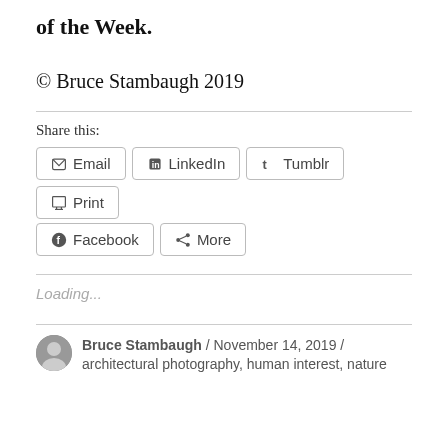of the Week.
© Bruce Stambaugh 2019
Share this:
Email | LinkedIn | Tumblr | Print | Facebook | More
Loading...
Bruce Stambaugh / November 14, 2019 / architectural photography, human interest, nature